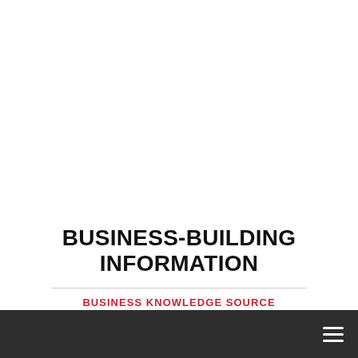BUSINESS-BUILDING INFORMATION
BUSINESS KNOWLEDGE SOURCE